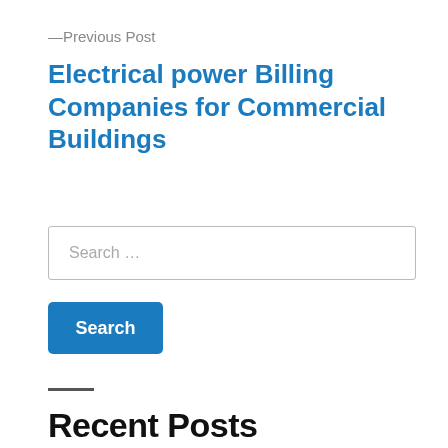—Previous Post
Electrical power Billing Companies for Commercial Buildings
Search …
Search
Recent Posts